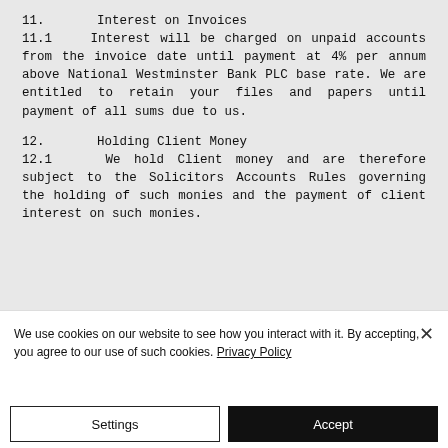11.     Interest on Invoices
11.1    Interest will be charged on unpaid accounts from the invoice date until payment at 4% per annum above National Westminster Bank PLC base rate. We are entitled to retain your files and papers until payment of all sums due to us.
12.     Holding Client Money
12.1    We hold Client money and are therefore subject to the Solicitors Accounts Rules governing the holding of such monies and the payment of client interest on such monies.
We use cookies on our website to see how you interact with it. By accepting, you agree to our use of such cookies. Privacy Policy
Settings
Accept